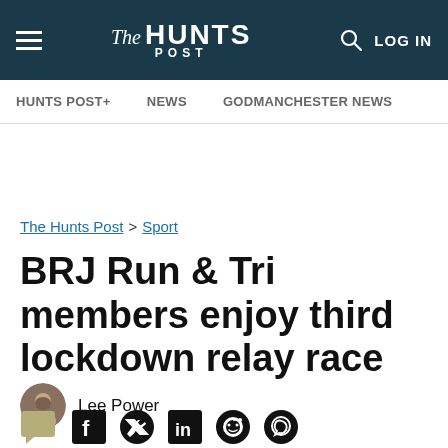The HUNTS POST — LOG IN
HUNTS POST+ | NEWS | GODMANCHESTER NEWS
The Hunts Post > Sport
BRJ Run & Tri members enjoy third lockdown relay race
Lee Power